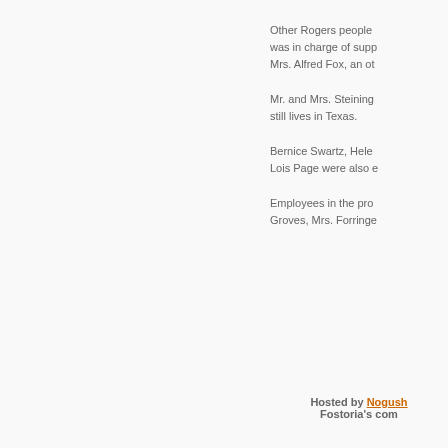Other Rogers people was in charge of supp Mrs. Alfred Fox, an ot
Mr. and Mrs. Steining still lives in Texas.
Bernice Swartz, Hele Lois Page were also e
Employees in the pro Groves, Mrs. Forringe
Hosted by Nogush Fostoria's com